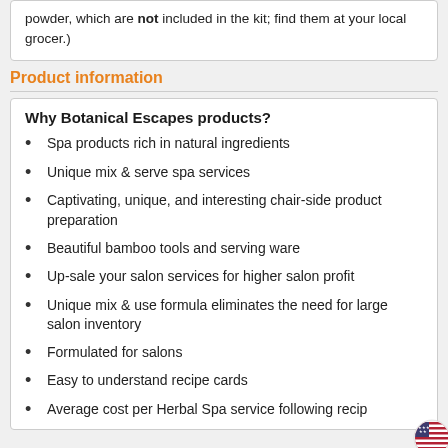powder, which are not included in the kit; find them at your local grocer.)
Product information
Why Botanical Escapes products?
Spa products rich in natural ingredients
Unique mix & serve spa services
Captivating, unique, and interesting chair-side product preparation
Beautiful bamboo tools and serving ware
Up-sale your salon services for higher salon profit
Unique mix & use formula eliminates the need for large salon inventory
Formulated for salons
Easy to understand recipe cards
Average cost per Herbal Spa service following recip...